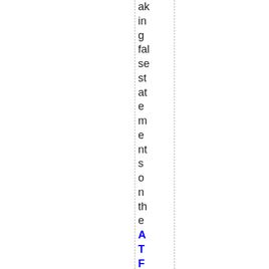aking false statements on the ATF form they filled out dow